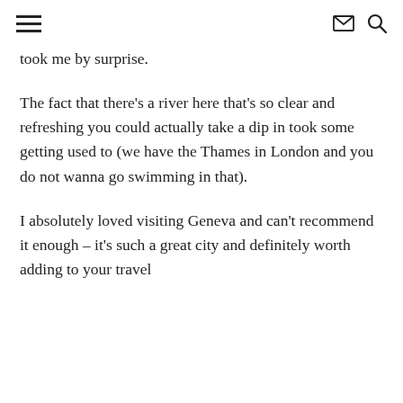≡ ✉ 🔍
took me by surprise.
The fact that there's a river here that's so clear and refreshing you could actually take a dip in took some getting used to (we have the Thames in London and you do not wanna go swimming in that).
I absolutely loved visiting Geneva and can't recommend it enough – it's such a great city and definitely worth adding to your travel